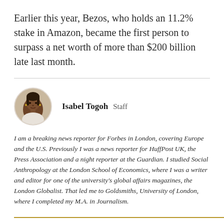Earlier this year, Bezos, who holds an 11.2% stake in Amazon, became the first person to surpass a net worth of more than $200 billion late last month.
[Figure (photo): Circular headshot photo of Isabel Togoh, a Black woman with braided/locked hair]
Isabel Togoh  Staff
I am a breaking news reporter for Forbes in London, covering Europe and the U.S. Previously I was a news reporter for HuffPost UK, the Press Association and a night reporter at the Guardian. I studied Social Anthropology at the London School of Economics, where I was a writer and editor for one of the university's global affairs magazines, the London Globalist. That led me to Goldsmiths, University of London, where I completed my M.A. in Journalism.